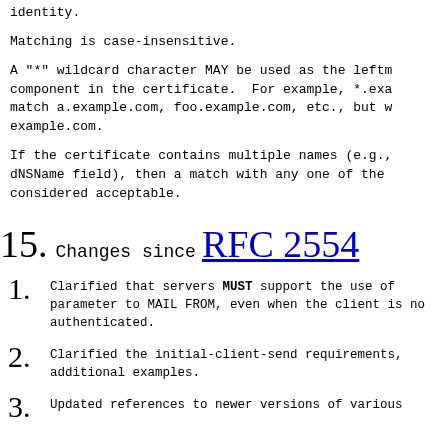identity.
Matching is case-insensitive.
A "*" wildcard character MAY be used as the leftm component in the certificate.  For example, *.exa match a.example.com, foo.example.com, etc., but w example.com.
If the certificate contains multiple names (e.g., dNSName field), then a match with any one of the considered acceptable.
15. Changes since RFC 2554
1. Clarified that servers MUST support the use of parameter to MAIL FROM, even when the client is no authenticated.
2. Clarified the initial-client-send requirements, additional examples.
3. Updated references to newer versions of various